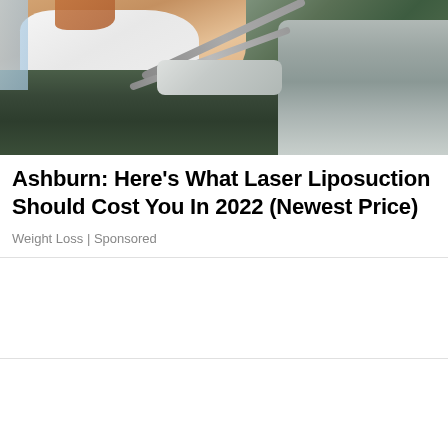[Figure (photo): Photo of a person receiving laser liposuction treatment. A medical device with tubes and applicator head is pressed against the person's midsection/thigh area. The person is wearing a white top and dark green/black pants. Medical equipment is visible in the background.]
Ashburn: Here's What Laser Liposuction Should Cost You In 2022 (Newest Price)
Weight Loss | Sponsored